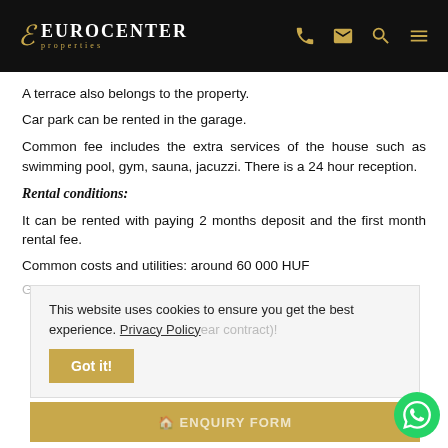EUROCENTER properties
A terrace also belongs to the property.
Car park can be rented in the garage.
Common fee includes the extra services of the house such as swimming pool, gym, sauna, jacuzzi. There is a 24 hour reception.
Rental conditions:
It can be rented with paying 2 months deposit and the first month rental fee.
Common costs and utilities: around 60 000 HUF
Garage space: 100 EUR
This website uses cookies to ensure you get the best experience. Privacy Policy
Got it!
ENQUIRY FORM